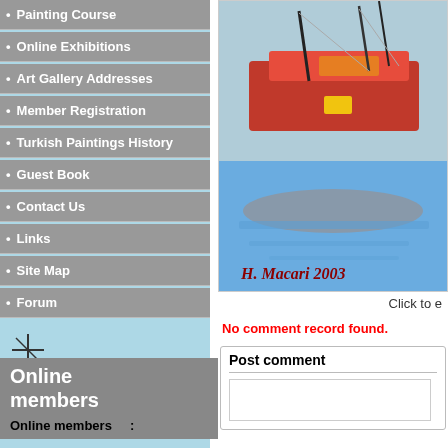Painting Course
Online Exhibitions
Art Gallery Addresses
Member Registration
Turkish Paintings History
Guest Book
Contact Us
Links
Site Map
Forum
http://www.turkishpaintings.com
Online members
Online members :
[Figure (photo): A painting of boats on water, signed H.Macarios 2003 at bottom left, showing red and orange boats with blue water background]
Click to e
No comment record found.
Post comment